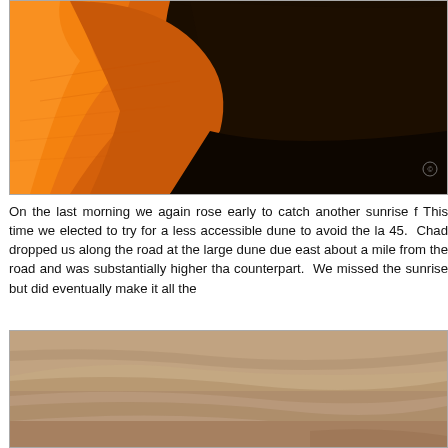[Figure (photo): Aerial or close-up view of orange/red sand dunes with sharp ridgeline contrast between bright orange sunlit sand and deep dark shadow, desert landscape.]
On the last morning we again rose early to catch another sunrise f  This time we elected to try for a less accessible dune to avoid the la 45.  Chad dropped us along the road at the large dune due east  about a mile from the road and was substantially higher tha counterpart.  We missed the sunrise but did eventually make it all the
[Figure (photo): Close-up view of sandy desert terrain, brown/tan sand surface with subtle ripples and texture, partially showing the bottom portion of a dune.]